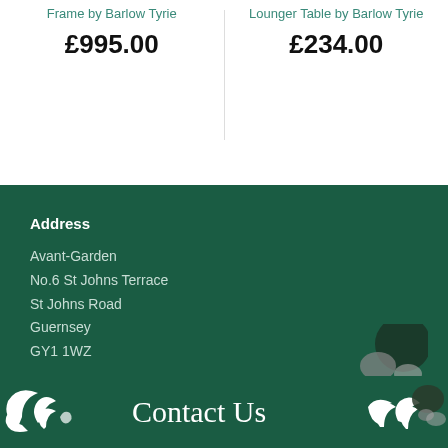Frame by Barlow Tyrie
£995.00
Lounger Table by Barlow Tyrie
£234.00
Address
Avant-Garden
No.6 St Johns Terrace
St Johns Road
Guernsey
GY1 1WZ
Contact Us